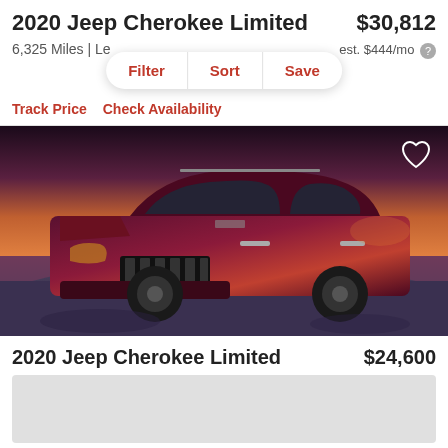2020 Jeep Cherokee Limited
$30,812
6,325 Miles | Le
est. $444/mo
Filter  Sort  Save
Track Price   Check Availability
[Figure (photo): 2020 Jeep Cherokee Limited in dark red/maroon color parked on rocky terrain with sunset sky in background]
2020 Jeep Cherokee Limited
$24,600